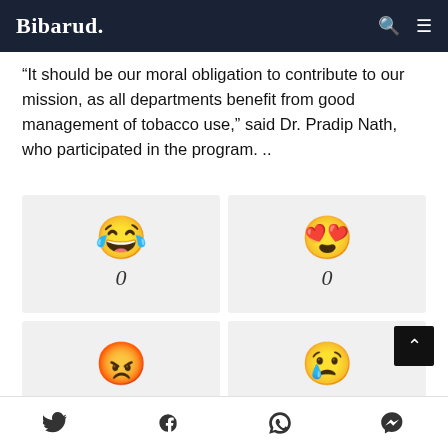Bibarud.
“It should be our moral obligation to contribute to our mission, as all departments benefit from good management of tobacco use,” said Dr. Pradip Nath, who participated in the program. ..
[Figure (infographic): Four emoji reaction buttons in a 2x2 grid. Top-left: laughing emoji with count 0. Top-right: heart-eyes emoji with count 0. Bottom-left: angry red emoji with count 0. Bottom-right: crying emoji with count 0.]
Social share icons: Twitter, Facebook, WhatsApp, Messenger